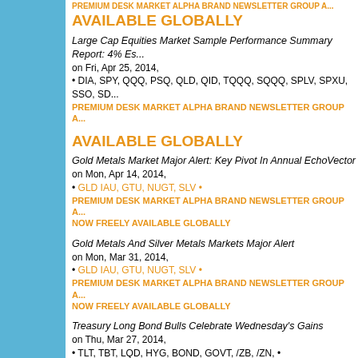PREMIUM DESK MARKET ALPHA BRAND NEWSLETTER GROUP A...
AVAILABLE GLOBALLY
Large Cap Equities Market Sample Performance Summary Report: 4% Es... on Fri, Apr 25, 2014,
• DIA, SPY, QQQ, PSQ, QLD, QID, TQQQ, SQQQ, SPLV, SPXU, SSO, SD...
PREMIUM DESK MARKET ALPHA BRAND NEWSLETTER GROUP A...
AVAILABLE GLOBALLY
Gold Metals Market Major Alert: Key Pivot In Annual EchoVector
on Mon, Apr 14, 2014,
• GLD IAU, GTU, NUGT, SLV •
PREMIUM DESK MARKET ALPHA BRAND NEWSLETTER GROUP A...
NOW FREELY AVAILABLE GLOBALLY
Gold Metals And Silver Metals Markets Major Alert
on Mon, Mar 31, 2014,
• GLD IAU, GTU, NUGT, SLV •
PREMIUM DESK MARKET ALPHA BRAND NEWSLETTER GROUP A...
NOW FREELY AVAILABLE GLOBALLY
Treasury Long Bond Bulls Celebrate Wednesday's Gains
on Thu, Mar 27, 2014,
• TLT, TBT, LQD, HYG, BOND, GOVT, /ZB, /ZN, •
PREMIUM DESK MARKET ALPHA BRAND NEWSLETTER GROUP A...
NOW FREELY AVAILABLE GLOBALLY
Treasury Long Bond Bulls Celebrating Today's Milestone and Success At Key Technical EchoVector Price Level Inflection Point and Time-Perio...
on Wed, Mar 26, 2014,